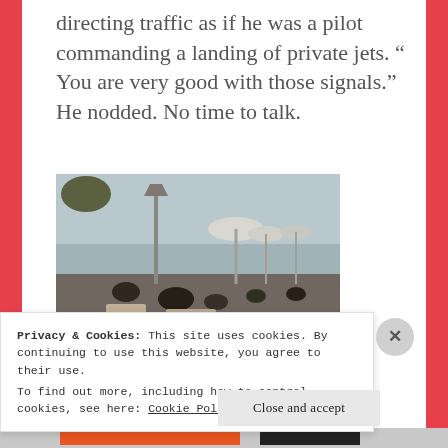directing traffic as if he was a pilot commanding a landing of private jets. “ You are very good with those signals.” He nodded. No time to talk.
[Figure (photo): Outdoor restaurant or cafe terrace with people seated at tables, patio heaters, white umbrellas, overlooking water or sea under an overcast sky.]
Advertisements
Privacy & Cookies: This site uses cookies. By continuing to use this website, you agree to their use.
To find out more, including how to control cookies, see here: Cookie Policy
Close and accept